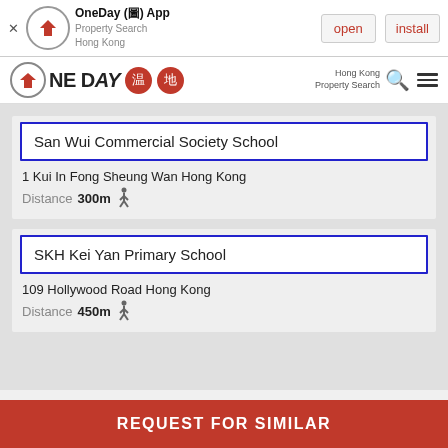[Figure (screenshot): App install banner for OneDay App - Property Search Hong Kong, with open and install buttons]
[Figure (logo): OneDay property search Hong Kong navigation bar with logo, Chinese characters, search and menu icons]
San Wui Commercial Society School
1 Kui In Fong Sheung Wan Hong Kong
Distance 300m
SKH Kei Yan Primary School
109 Hollywood Road Hong Kong
Distance 450m
REQUEST FOR SIMILAR